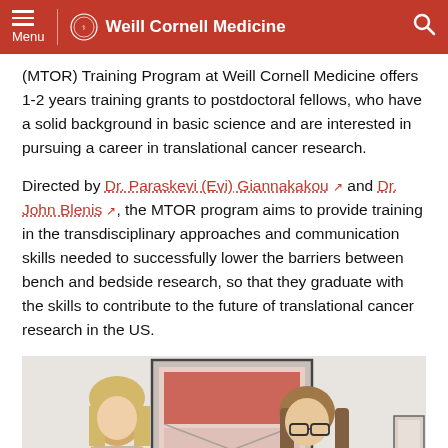Menu | Weill Cornell Medicine
(MTOR) Training Program at Weill Cornell Medicine offers 1-2 years training grants to postdoctoral fellows, who have a solid background in basic science and are interested in pursuing a career in translational cancer research.
Directed by Dr. Paraskevi (Evi) Giannakakou and Dr. John Blenis, the MTOR program aims to provide training in the transdisciplinary approaches and communication skills needed to successfully lower the barriers between bench and bedside research, so that they graduate with the skills to contribute to the future of translational cancer research in the US.
[Figure (photo): Two people standing in front of a framed red and white artwork on a wall — a woman with blonde hair on the left and a man with long hair and glasses on the right.]